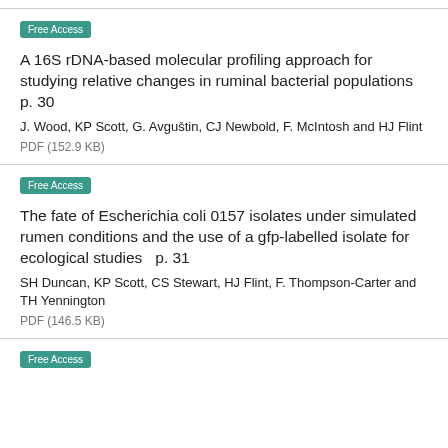Free Access
A 16S rDNA-based molecular profiling approach for studying relative changes in ruminal bacterial populations   p. 30
J. Wood, KP Scott, G. Avguštin, CJ Newbold, F. McIntosh and HJ Flint
PDF (152.9 KB)
Free Access
The fate of Escherichia coli 0157 isolates under simulated rumen conditions and the use of a gfp-labelled isolate for ecological studies   p. 31
SH Duncan, KP Scott, CS Stewart, HJ Flint, F. Thompson-Carter and TH Yennington
PDF (146.5 KB)
Free Access